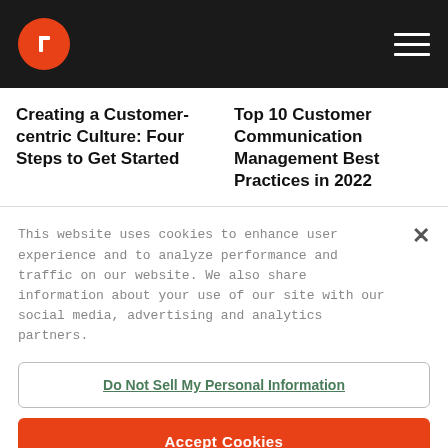Header navigation bar with logo and hamburger menu
Creating a Customer-centric Culture: Four Steps to Get Started
Top 10 Customer Communication Management Best Practices in 2022
This website uses cookies to enhance user experience and to analyze performance and traffic on our website. We also share information about your use of our site with our social media, advertising and analytics partners.
Do Not Sell My Personal Information
Accept Cookies